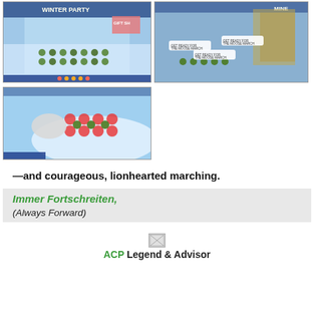[Figure (screenshot): Screenshot of Club Penguin game scene with Winter Party and characters lined up, left image]
[Figure (screenshot): Screenshot of Club Penguin mine scene with characters and chat bubbles saying 'GET READY FOR THE MOOSE MARCH']
[Figure (screenshot): Screenshot of Club Penguin iceberg scene with characters and red emoji faces]
—and courageous, lionhearted marching.
Immer Fortschreiten,
(Always Forward)
[Figure (illustration): Small broken image icon]
ACP Legend & Advisor